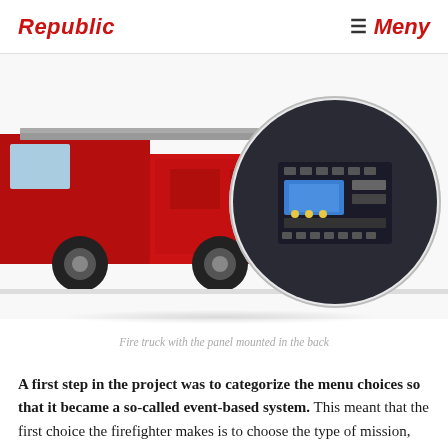Republic    ☰ Meny
[Figure (photo): Fire truck with a control panel mounted in the back, shown with a circular inset zooming in on the panel interface]
Fire truck with the panel mounted in the back
A first step in the project was to categorize the menu choices so that it became a so-called event-based system. This meant that the first choice the firefighter makes is to choose the type of mission, e.g. whether it is a rescue or fire mission. After that, only the functions you need to access